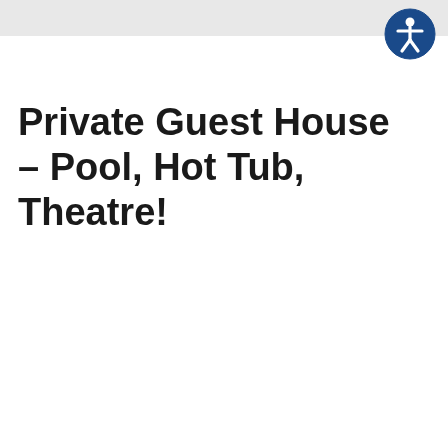[Figure (logo): Accessibility icon — blue circle with white stylized human figure (universal accessibility symbol)]
Private Guest House – Pool, Hot Tub, Theatre!